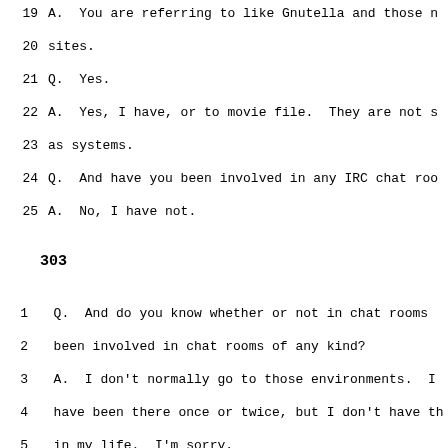19   A.  You are referring to like Gnutella and those n
20   sites.
21   Q.  Yes.
22   A.  Yes, I have, or to movie file.  They are not s
23   as systems.
24   Q.  And have you been involved in any IRC chat roo
25   A.  No, I have not.
303
1    Q.  And do you know whether or not in chat rooms
2    been involved in chat rooms of any kind?
3    A.  I don't normally go to those environments.  I
4    have been there once or twice, but I don't have th
5    in my life.  I'm sorry.
6    ...